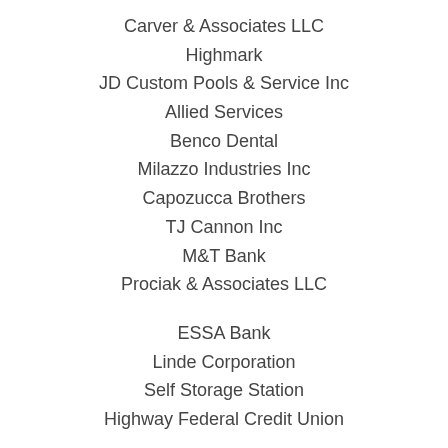Carver & Associates LLC
Highmark
JD Custom Pools & Service Inc
Allied Services
Benco Dental
Milazzo Industries Inc
Capozucca Brothers
TJ Cannon Inc
M&T Bank
Prociak & Associates LLC
ESSA Bank
Linde Corporation
Self Storage Station
Highway Federal Credit Union